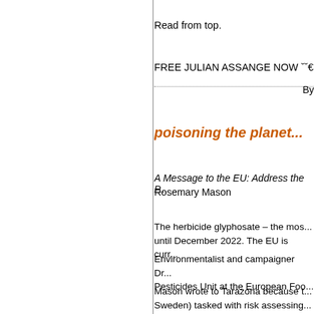Read from top.
FREE JULIAN ASSANGE NOW ˇˇ€
By
poisoning the planet...
A Message to the EU: Address the P... Rosemary Mason
The herbicide glyphosate – the most... until December 2022. The EU is curr...
Environmentalist and campaigner Dr... Pesticides Unit at the European Foo...
Mason wrote to Tarazona because t... Sweden) tasked with risk assessing... on 21 June 2021 that there was no p...
A tireless campaigner against glyph...